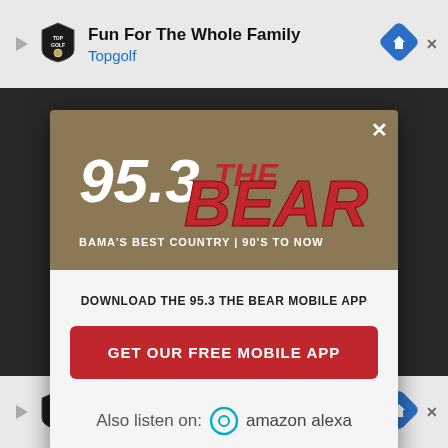[Figure (screenshot): Top advertisement banner: Topgolf logo with text 'Fun For The Whole Family' and 'Topgolf' on light gray background with blue diamond navigation icon on right]
[Figure (logo): 95.3 The Bear radio station modal popup. Dark tan/khaki background with red and white '95.3 THE BEAR' logo, tagline 'BAMA'S BEST COUNTRY | 90'S TO NOW'. White X close button top right.]
DOWNLOAD THE 95.3 THE BEAR MOBILE APP
GET OUR FREE MOBILE APP
Also listen on: amazon alexa
[Figure (screenshot): Bottom advertisement banner: Topgolf logo with text 'Perfect activity for everyone' and 'Topgolf' on light gray background with blue diamond navigation icon on right]